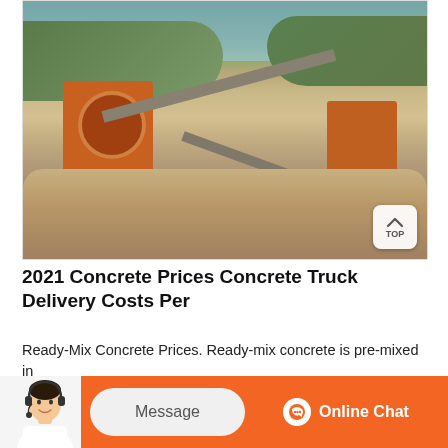[Figure (photo): Quarry site with orange heavy machinery, conveyor belts, and hillside backdrop]
2021 Concrete Prices Concrete Truck Delivery Costs Per
Ready-Mix Concrete Prices. Ready-mix concrete is pre-mixed in batches of 10 cubic yards or more and includes delivery up to 20 miles
Message
Online Chat